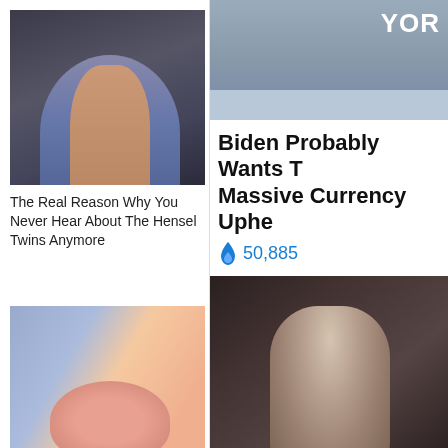[Figure (photo): Two women (Hensel twins) posed together against dark background]
The Real Reason Why You Never Hear About The Hensel Twins Anymore
[Figure (photo): Close-up of woman's face showing nose and lips]
Confession: I've Been Using A Face Mask Every Day. Have A Look
[Figure (photo): News screenshot with 'YOR' text visible, person sitting at desk]
Biden Probably Wants T Massive Currency Uphe
🔥 50,885
[Figure (photo): Person sitting hunched on bed in dim lighting, wearing floral top]